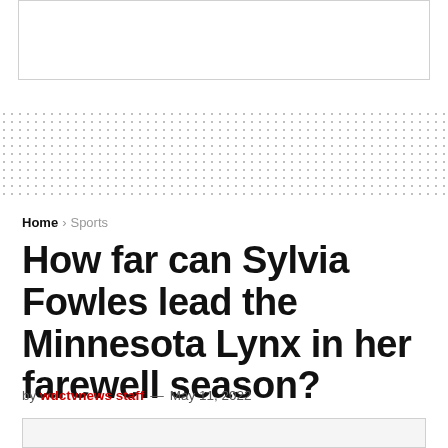[Figure (other): Advertisement placeholder box at top of page]
[Figure (other): Dotted background pattern banner]
Home > Sports
How far can Sylvia Fowles lead the Minnesota Lynx in her farewell season?
by wdctvnews staff — May 11, 2022
[Figure (photo): Image placeholder below byline]